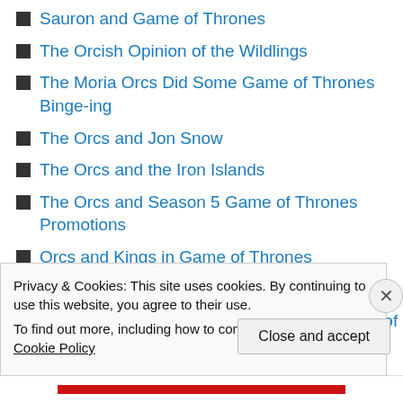Sauron and Game of Thrones
The Orcish Opinion of the Wildlings
The Moria Orcs Did Some Game of Thrones Binge-ing
The Orcs and Jon Snow
The Orcs and the Iron Islands
The Orcs and Season 5 Game of Thrones Promotions
Orcs and Kings in Game of Thrones
Season 5 Orcish Recaps
The Orcish Views on the Start of Season 5 (of
Privacy & Cookies: This site uses cookies. By continuing to use this website, you agree to their use.
To find out more, including how to control cookies, see here: Cookie Policy
Close and accept